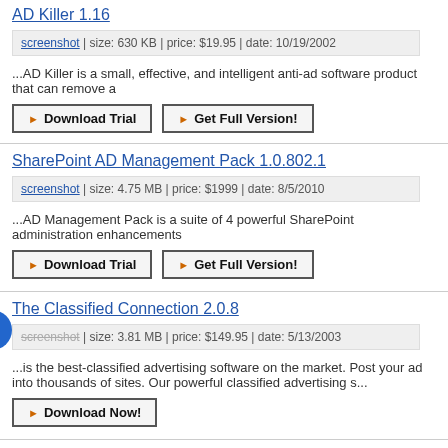AD Killer 1.16
screenshot | size: 630 KB | price: $19.95 | date: 10/19/2002
...AD Killer is a small, effective, and intelligent anti-ad software product that can remove a
Download Trial
Get Full Version!
SharePoint AD Management Pack 1.0.802.1
screenshot | size: 4.75 MB | price: $1999 | date: 8/5/2010
...AD Management Pack is a suite of 4 powerful SharePoint administration enhancements
Download Trial
Get Full Version!
The Classified Connection 2.0.8
screenshot | size: 3.81 MB | price: $149.95 | date: 5/13/2003
...is the best-classified advertising software on the market. Post your ad into thousands of sites. Our powerful classified advertising s...
Download Now!
Free Ad/Video Submitter Enterprise Edition 1.0